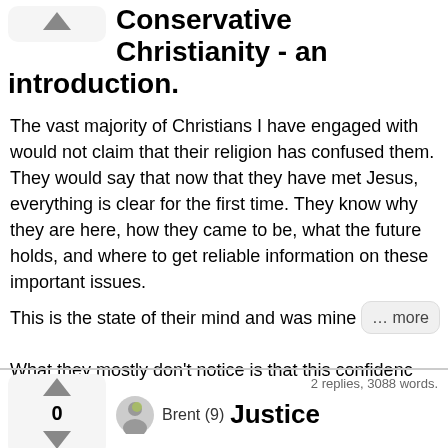Conservative Christianity - an introduction.
The vast majority of Christians I have engaged with would not claim that their religion has confused them. They would say that now that they have met Jesus, everything is clear for the first time. They know why they are here, how they came to be, what the future holds, and where to get reliable information on these important issues.
This is the state of their mind and was mine for ma… … more
What they mostly don't notice is that this confidenc…
2 replies, 3088 words.
Justice
Brent (9)
God Loves Justice
In conservative evangelical Christianity (denoted hitherto as CC), the quality of justice is revered. Steve Camp sang